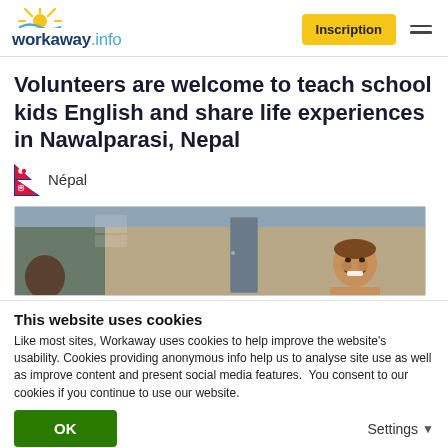workaway.info — Inscription
Volunteers are welcome to teach school kids English and share life experiences in Nawalparasi, Nepal
Népal
[Figure (photo): Photo of a person smiling in a room/corridor setting]
This website uses cookies
Like most sites, Workaway uses cookies to help improve the website's usability. Cookies providing anonymous info help us to analyse site use as well as improve content and present social media features.  You consent to our cookies if you continue to use our website.
OK
Settings